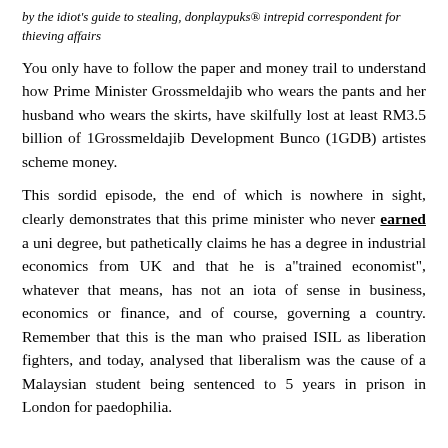by the idiot's guide to stealing, donplaypuks® intrepid correspondent for thieving affairs
You only have to follow the paper and money trail to understand how Prime Minister Grossmeldajib who wears the pants and her husband who wears the skirts, have skilfully lost at least RM3.5 billion of 1Grossmeldajib Development Bunco (1GDB) artistes scheme money.
This sordid episode, the end of which is nowhere in sight, clearly demonstrates that this prime minister who never earned a uni degree, but pathetically claims he has a degree in industrial economics from UK and that he is a"trained economist", whatever that means, has not an iota of sense in business, economics or finance, and of course, governing a country. Remember that this is the man who praised ISIL as liberation fighters, and today, analysed that liberalism was the cause of a Malaysian student being sentenced to 5 years in prison in London for paedophilia.